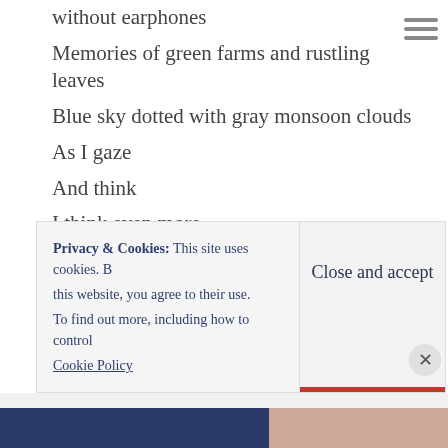without earphones
Memories of green farms and rustling leaves
Blue sky dotted with gray monsoon clouds
As I gaze
And think
I think even more
About the people I have found interesting
The people I want to write about
About the places
About me
About my life
Privacy & Cookies: This site uses cookies. By continuing to use this website, you agree to their use. To find out more, including how to control cookies, see here: Cookie Policy
Close and accept